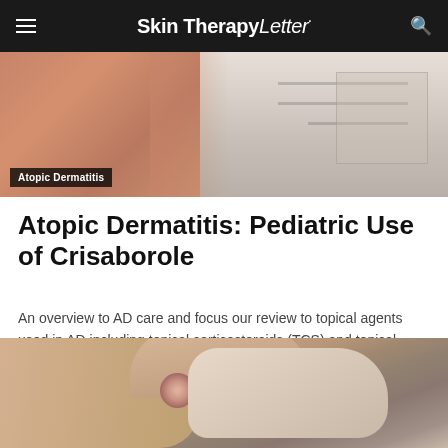Skin Therapy Letter
[Figure (photo): Medical photo showing inflamed skin (atopic dermatitis) on left, and a clinician writing notes on right, with badge reading 'Atopic Dermatitis']
Atopic Dermatitis: Pediatric Use of Crisaborole
An overview to AD care and focus our review to topical agents used in AD including topical corticosteroids (TCS) and topical calcineurin inhibitors (TCI) and discuss the newest topical agent accessible in the physician's armamentarium, crisaborole.
[Figure (photo): Close-up photo of a hand/finger showing skin lesion consistent with atopic dermatitis or eczema]